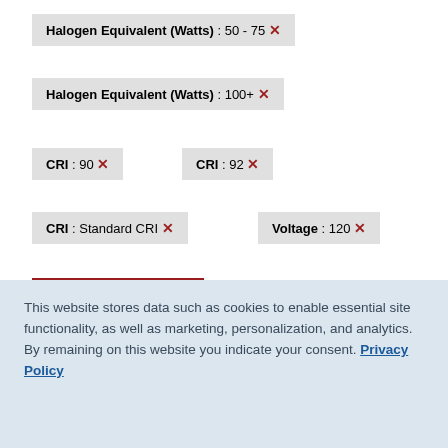Halogen Equivalent (Watts) : 50 - 75 ✕
Halogen Equivalent (Watts) : 100+ ✕
CRI : 90 ✕
CRI : 92 ✕
CRI : Standard CRI ✕
Voltage : 120 ✕
RESET
This website stores data such as cookies to enable essential site functionality, as well as marketing, personalization, and analytics. By remaining on this website you indicate your consent. Privacy Policy